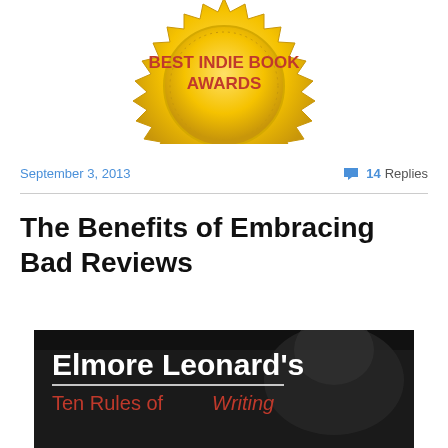[Figure (illustration): Golden 'Best Indie Book Awards' seal/badge medal with jagged edges, red text on gold background]
September 3, 2013
💬 14 Replies
The Benefits of Embracing Bad Reviews
[Figure (photo): Book cover: 'Elmore Leonard's Ten Rules of Writing' — black and white photo background with white bold text and red subtitle]